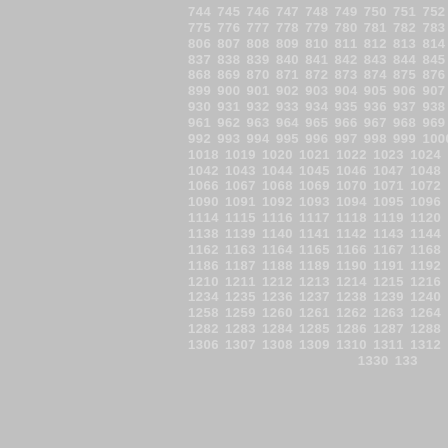744 745 746 747 748 749 750 751 752 775 776 777 778 779 780 781 782 783 806 807 808 809 810 811 812 813 814 837 838 839 840 841 842 843 844 845 868 869 870 871 872 873 874 875 876 899 900 901 902 903 904 905 906 907 930 931 932 933 934 935 936 937 938 961 962 963 964 965 966 967 968 969 992 993 994 995 996 997 998 999 1000 1018 1019 1020 1021 1022 1023 1024 1042 1043 1044 1045 1046 1047 1048 1066 1067 1068 1069 1070 1071 1072 1090 1091 1092 1093 1094 1095 1096 1114 1115 1116 1117 1118 1119 1120 1138 1139 1140 1141 1142 1143 1144 1162 1163 1164 1165 1166 1167 1168 1186 1187 1188 1189 1190 1191 1192 1210 1211 1212 1213 1214 1215 1216 1234 1235 1236 1237 1238 1239 1240 1258 1259 1260 1261 1262 1263 1264 1282 1283 1284 1285 1286 1287 1288 1306 1307 1308 1309 1310 1311 1312 1330 133